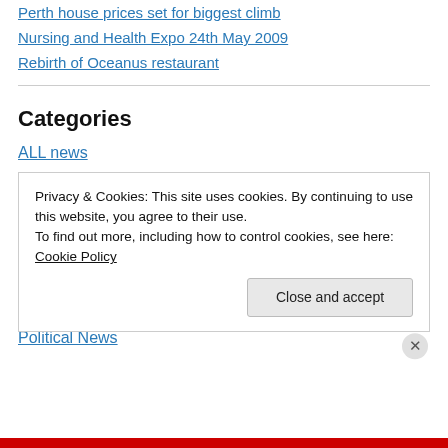Perth house prices set for biggest climb
Nursing and Health Expo 24th May 2009
Rebirth of Oceanus restaurant
Categories
ALL news
Cost of Living
Immigration News
Jobs and careers
Living in Perth
Local News
Political News
Privacy & Cookies: This site uses cookies. By continuing to use this website, you agree to their use.
To find out more, including how to control cookies, see here: Cookie Policy